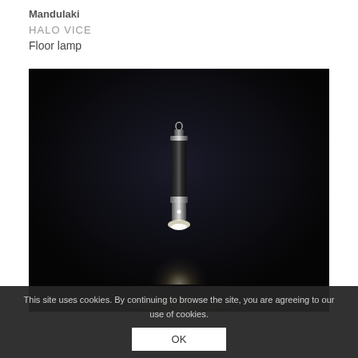Mandulaki
HALO VICE
Floor lamp
[Figure (photo): A pendant lamp photographed against a dark/black background. The lamp has a cylindrical dark body with chrome accents, suspended from a thin cable. Light emanates from the bottom of the fixture creating a warm glow.]
This site uses cookies. By continuing to browse the site, you are agreeing to our use of cookies.
OK